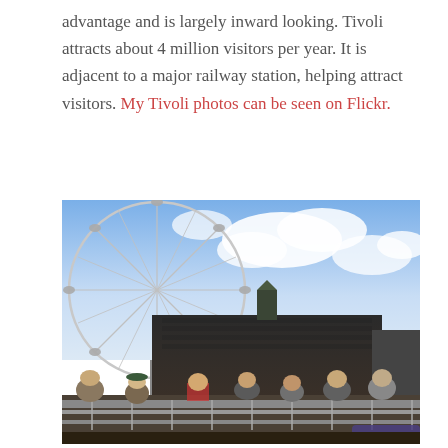advantage and is largely inward looking. Tivoli attracts about 4 million visitors per year. It is adjacent to a major railway station, helping attract visitors. My Tivoli photos can be seen on Flickr.
[Figure (photo): A photo taken from a boat or ferry showing the London Eye (a large Ferris wheel) on the left side, with a large Victorian-style building (County Hall) in the background. In the foreground, tourists sit on benches on the boat deck. The sky is partly cloudy and blue.]